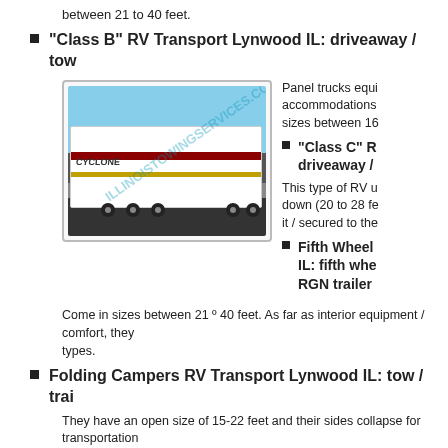between 21 to 40 feet.
“Class B” RV Transport Lynwood IL: driveaway / tow
[Figure (photo): Photo of a large white fifth-wheel RV trailer labeled 'CYCLONE' being towed by a pickup truck in a parking lot, with watermark ILLINOISTOWINGSERVICES.COM]
Panel trucks equi accommodations sizes between 16
“Class C” R driveaway /
This type of RV u down (20 to 28 fe it / secured to the
Fifth Wheel IL: fifth whe RGN trailer
Come in sizes between 21 º 40 feet. As far as interior equipment / comfort, they types.
Folding Campers RV Transport Lynwood IL: tow / trai
They have an open size of 15-22 feet and their sides collapse for transportation